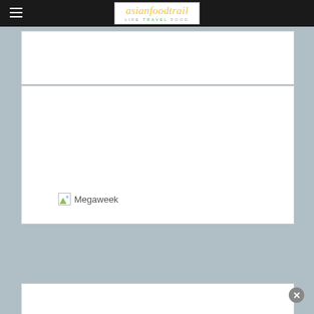asianfoodtrail LIFE TRAVEL FOOD
[Figure (other): White content box 1 - empty white rectangular area]
[Figure (other): White content box 2 with broken image placeholder labeled Megaweek]
[Figure (other): White content box 3 - partially visible at bottom of page]